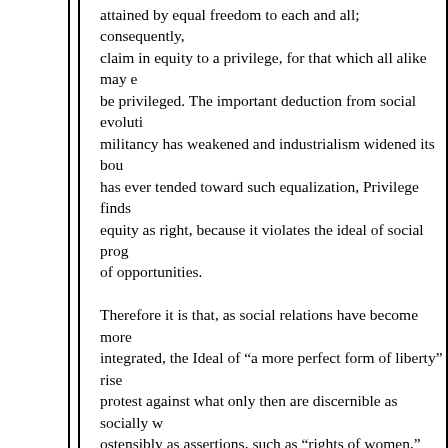attained by equal freedom to each and all; consequently, claim in equity to a privilege, for that which all alike may be privileged. The important deduction from social evolution militancy has weakened and industrialism widened its bou has ever tended toward such equalization, Privilege finds equity as right, because it violates the ideal of social prog of opportunities.

Therefore it is that, as social relations have become more integrated, the Ideal of "a more perfect form of liberty" rise protest against what only then are discernible as socially w ostensibly as assertions, such as "rights of women," "right "rights" of children and sailors against flogging, the right to They are fierce and burning assertions just so far as they growing protest against inequitable conditions. In this sen Anarchistic, inasmuch as only by the extension, in other w abolition of restrictions, is the wrong righted. Our specific dependent upon our ability to discern wrongs, or the viola evolving industrial ideal — equality of opportunities, and e protests. Abolish vested wrongs, and there will be no vest natural or otherwise. Precisely as water flows to a level wh are removed, just so will social relations flow to equitable restrictions are swept away. And precisely also as liberty o the assertion of "rights" go out.